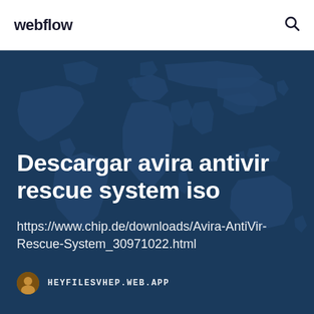webflow
[Figure (illustration): World map silhouette on dark blue background used as hero section backdrop]
Descargar avira antivir rescue system iso
https://www.chip.de/downloads/Avira-AntiVir-Rescue-System_30971022.html
HEYFILESVHEP.WEB.APP